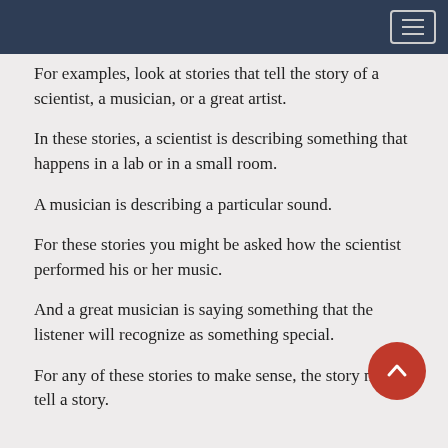For examples, look at stories that tell the story of a scientist, a musician, or a great artist.
In these stories, a scientist is describing something that happens in a lab or in a small room.
A musician is describing a particular sound.
For these stories you might be asked how the scientist performed his or her music.
And a great musician is saying something that the listener will recognize as something special.
For any of these stories to make sense, the story must tell a story.